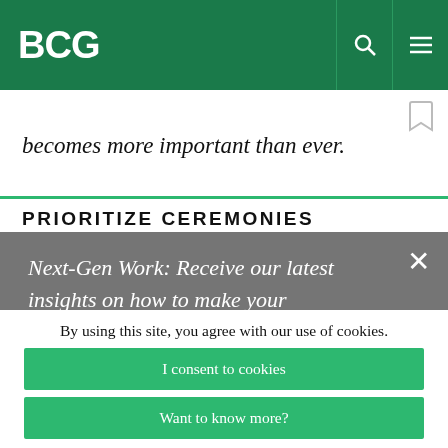BCG
becomes more important than ever.
PRIORITIZE CEREMONIES
Next-Gen Work: Receive our latest insights on how to make your organization fit for the future. ➜
protected by reCaptcha
By using this site, you agree with our use of cookies.
I consent to cookies
Want to know more?
Read our Cookie Policy